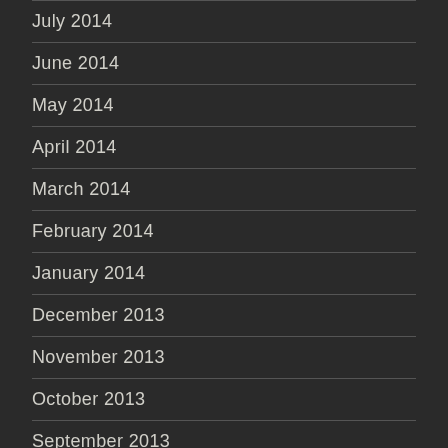July 2014
June 2014
May 2014
April 2014
March 2014
February 2014
January 2014
December 2013
November 2013
October 2013
September 2013